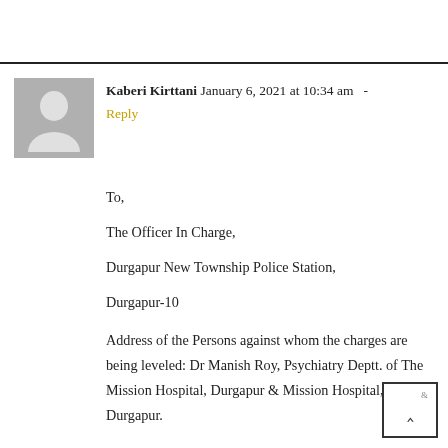Kaberi Kirttani January 6, 2021 at 10:34 am - Reply
To,

The Officer In Charge,

Durgapur New Township Police Station,

Durgapur-10

Address of the Persons against whom the charges are being leveled: Dr Manish Roy, Psychiatry Deptt. of The Mission Hospital, Durgapur & Mission Hospital, Durgapur.